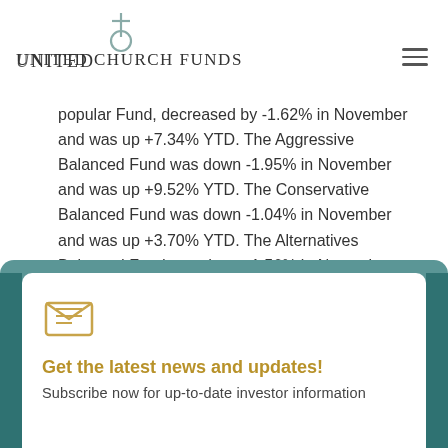United Church Funds
popular Fund, decreased by -1.62% in November and was up +7.34% YTD. The Aggressive Balanced Fund was down -1.95% in November and was up +9.52% YTD. The Conservative Balanced Fund was down -1.04% in November and was up +3.70% YTD. The Alternatives Balanced Fund was down -1.56% in November and was up +9.31% YTD. Finally, the Beyond Fossil Fuels Balanced Fund decreased by -1.10% in November and was up +10.13% YTD.
[Figure (illustration): Envelope icon with lines suggesting a letter inside]
Get the latest news and updates!
Subscribe now for up-to-date investor information